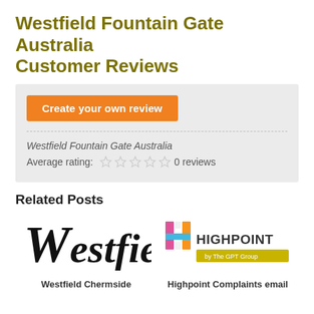Westfield Fountain Gate Australia Customer Reviews
Create your own review
Westfield Fountain Gate Australia
Average rating: 0 reviews
Related Posts
[Figure (logo): Westfield logo in black italic serif font]
[Figure (logo): Highpoint shopping centre logo with coloured H icon and 'by The GPT Group' tagline]
Westfield Chermside
Highpoint Complaints email